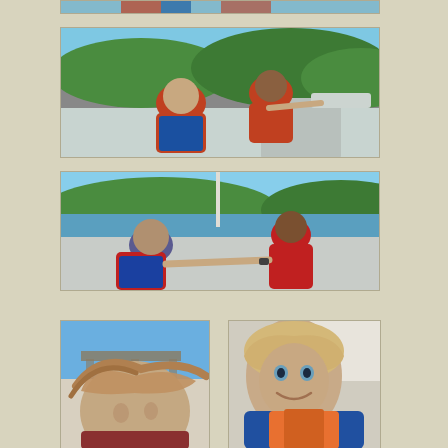[Figure (photo): Partial top view of children in life jackets on a boat, cropped at top of page]
[Figure (photo): Two children in red and blue life jackets on a boat with green tree-covered hills in background, one child pointing]
[Figure (photo): Two children in red life jackets on a boat on water with wooded hills behind, holding hands and playing]
[Figure (photo): Close-up of a girl with windblown hair on a boat near a dock]
[Figure (photo): Close-up portrait of a smiling girl in a blue life jacket on a boat]